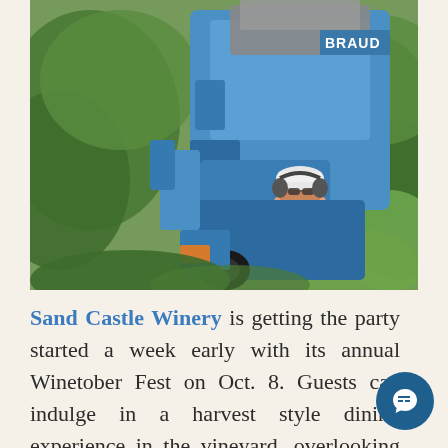[Figure (photo): A person wearing a white cap and sunglasses operating a large blue BRAUD grape harvesting machine in a vineyard surrounded by green grapevines.]
Sand Castle Winery is getting the party started a week early with its annual Winetober Fest on Oct. 8. Guests can indulge in a harvest style dining experience in the vineyard, overlooking the river with wine authentic German food. An unlimited sup of hot Alpine Spice wine is included with each